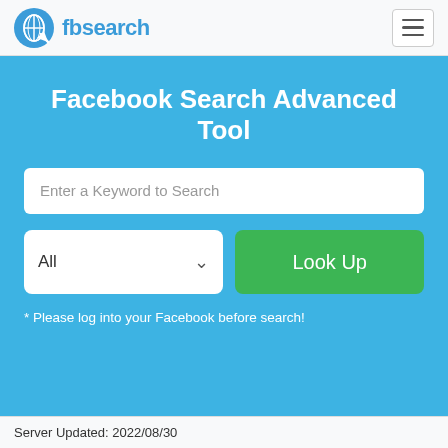[Figure (logo): fbsearch logo with globe/search icon and text 'fbsearch' in blue]
Facebook Search Advanced Tool
Enter a Keyword to Search
All
Look Up
* Please log into your Facebook before search!
Server Updated: 2022/08/30